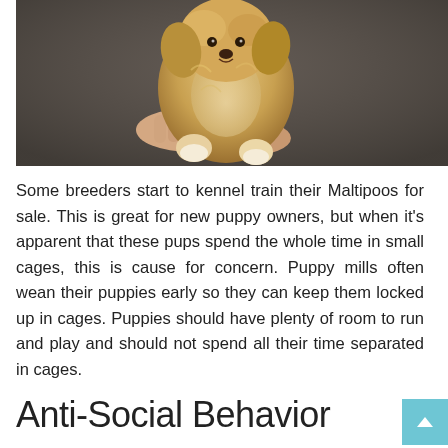[Figure (photo): A person holding a small fluffy Maltipoo puppy up against a dark gray background. The puppy is light golden/cream colored and the hands are visible underneath it.]
Some breeders start to kennel train their Maltipoos for sale. This is great for new puppy owners, but when it's apparent that these pups spend the whole time in small cages, this is cause for concern. Puppy mills often wean their puppies early so they can keep them locked up in cages. Puppies should have plenty of room to run and play and should not spend all their time separated in cages.
Anti-Social Behavior